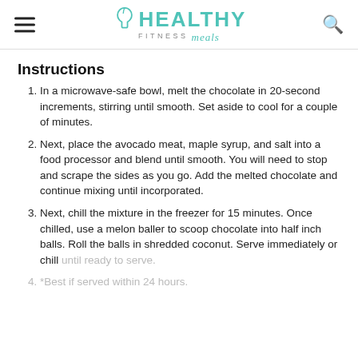HEALTHY FITNESS meals
Instructions
In a microwave-safe bowl, melt the chocolate in 20-second increments, stirring until smooth. Set aside to cool for a couple of minutes.
Next, place the avocado meat, maple syrup, and salt into a food processor and blend until smooth. You will need to stop and scrape the sides as you go. Add the melted chocolate and continue mixing until incorporated.
Next, chill the mixture in the freezer for 15 minutes. Once chilled, use a melon baller to scoop chocolate into half inch balls. Roll the balls in shredded coconut. Serve immediately or chill until ready to serve.
*Best if served within 24 hours.